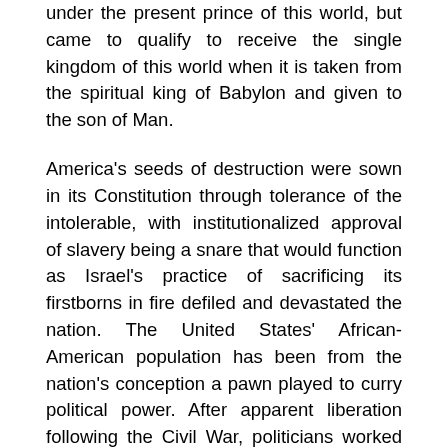under the present prince of this world, but came to qualify to receive the single kingdom of this world when it is taken from the spiritual king of Babylon and given to the son of Man.
America's seeds of destruction were sown in its Constitution through tolerance of the intolerable, with institutionalized approval of slavery being a snare that would function as Israel's practice of sacrificing its firstborns in fire defiled and devastated the nation. The United States' African-American population has been from the nation's conception a pawn played to curry political power. After apparent liberation following the Civil War, politicians worked hard to keep this population mentally enslaved, first through terror than through government largesse. Although individuals escaped a second or even third enslavement, the culture did not as African-American initiative was suppressed by crushing poverty and the promises of welfare pimps, empty